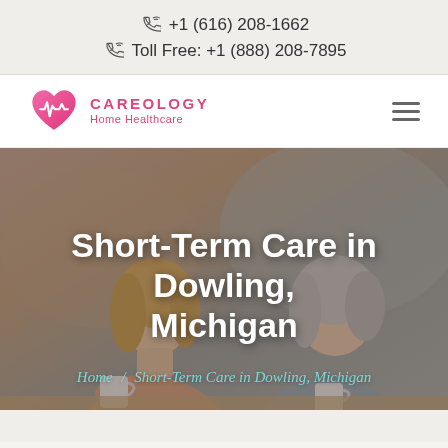+1 (616) 208-1662
Toll Free: +1 (888) 208-7895
[Figure (logo): Careology Home Healthcare logo with pink heart and EKG line, text CAREOLOGY Home Healthcare in pink]
[Figure (photo): Two women smiling and talking over coffee, one younger blonde and one older with grey hair, used as hero background image]
Short-Term Care in Dowling, Michigan
Home / Short-Term Care in Dowling, Michigan